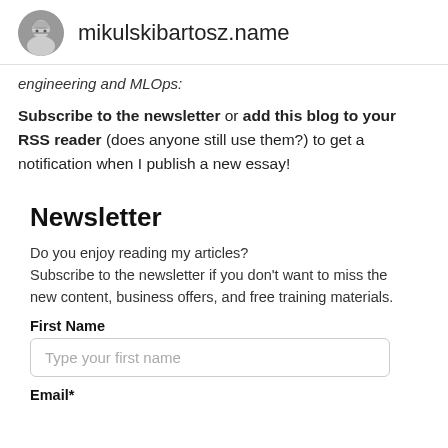mikulskibartosz.name
engineering and MLOps:
Subscribe to the newsletter or add this blog to your RSS reader (does anyone still use them?) to get a notification when I publish a new essay!
Newsletter
Do you enjoy reading my articles?
Subscribe to the newsletter if you don't want to miss the new content, business offers, and free training materials.
First Name
Type your first name
Email*